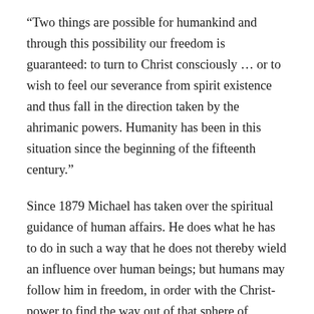“Two things are possible for humankind and through this possibility our freedom is guaranteed: to turn to Christ consciously … or to wish to feel our severance from spirit existence and thus fall in the direction taken by the ahrimanic powers. Humanity has been in this situation since the beginning of the fifteenth century.”
Since 1879 Michael has taken over the spiritual guidance of human affairs. He does what he has to do in such a way that he does not thereby wield an influence over human beings; but humans may follow him in freedom, in order with the Christ-power to find the way out of that sphere of Ahriman which they were obliged to enter.
The classical image of Michael depicts him in battle with a dragon and shows him standing on